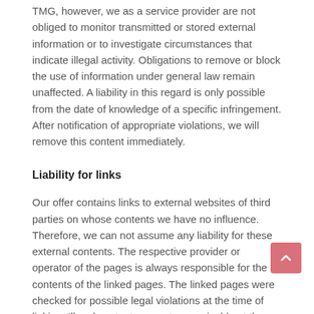TMG, however, we as a service provider are not obliged to monitor transmitted or stored external information or to investigate circumstances that indicate illegal activity. Obligations to remove or block the use of information under general law remain unaffected. A liability in this regard is only possible from the date of knowledge of a specific infringement. After notification of appropriate violations, we will remove this content immediately.
Liability for links
Our offer contains links to external websites of third parties on whose contents we have no influence. Therefore, we can not assume any liability for these external contents. The respective provider or operator of the pages is always responsible for the contents of the linked pages. The linked pages were checked for possible legal violations at the time of linking. Illegal content was not recognizable at the time of linking. However, a permanent content control of the linked pages is not reasonable without concrete evidence of an infringement. After notification of violations, we will remove such links immediately.